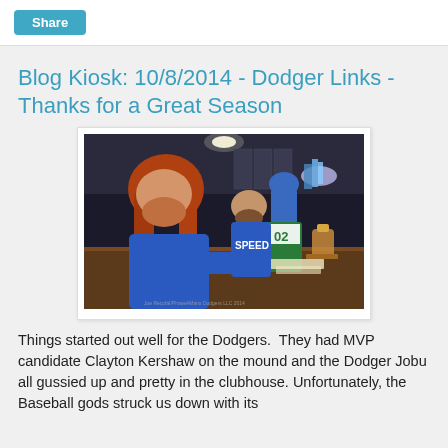Share
Blog Kiosk: 10/8/2014 - Dodger Links - Thanks for a Great Season
[Figure (photo): Photo of Dodger players in clubhouse wearing blue shirts, one with long red hair, one wearing a shirt saying SPEED, with a trophy and drinks on a table]
Things started out well for the Dodgers.  They had MVP candidate Clayton Kershaw on the mound and the Dodger Jobu all gussied up and pretty in the clubhouse. Unfortunately, the Baseball gods struck us down with its